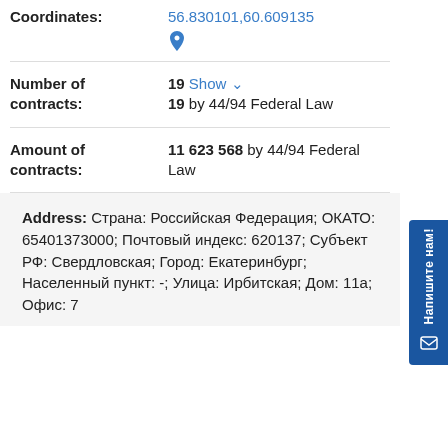Coordinates: 56.830101,60.609135
Number of contracts: 19 Show 19 by 44/94 Federal Law
Amount of contracts: 11 623 568 by 44/94 Federal Law
Address: Страна: Российская Федерация; ОКАТО: 65401373000; Почтовый индекс: 620137; Субъект РФ: Свердловская; Город: Екатеринбург; Населенный пункт: -; Улица: Ирбитская; Дом: 11а; Офис: 7